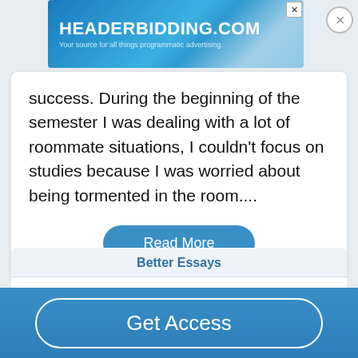[Figure (screenshot): HEADERBIDDING.COM advertisement banner - Your source for all things programmatic advertising.]
success. During the beginning of the semester I was dealing with a lot of roommate situations, I couldn't focus on studies because I was worried about being tormented in the room....
Read More
Better Essays
Writing Self-Evaluation
960 Words
Get Access